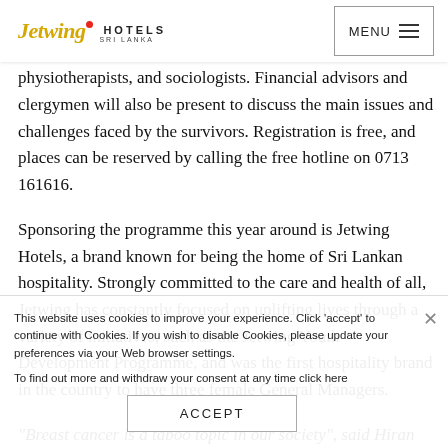Jetwing HOTELS SRI LANKA | MENU
The workshop will include lectures by consultants, including well-known clinicians, psychologist, occupational therapists, physiotherapists, and sociologists. Financial advisors and clergymen will also be present to discuss the main issues and challenges faced by the survivors. Registration is free, and places can be reserved by calling the free hotline on 0713 161616.
Sponsoring the programme this year around is Jetwing Hotels, a brand known for being the home of Sri Lankan hospitality. Strongly committed to the care and health of all, Jetwing has constantly focused on uplifting lives through a variety of initiatives, such as the Jetwing Youth Development Programme, and was the first hospitality brand in the country to have three female General Managers.
"Breast cancer is a taboo topic in our society", said Hiran
This website uses cookies to improve your experience. Click 'accept' to continue with Cookies. If you wish to disable Cookies, please update your preferences via your Web browser settings. To find out more and withdraw your consent at any time click here
ACCEPT